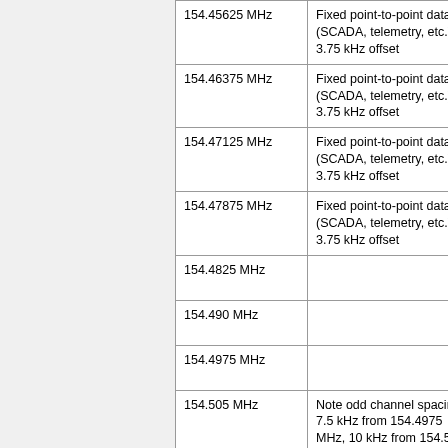| Frequency | Description |
| --- | --- |
| 154.45625 MHz | Fixed point-to-point data (SCADA, telemetry, etc.) - 3.75 kHz offset |
| 154.46375 MHz | Fixed point-to-point data (SCADA, telemetry, etc.) - 3.75 kHz offset |
| 154.47125 MHz | Fixed point-to-point data (SCADA, telemetry, etc.) - 3.75 kHz offset |
| 154.47875 MHz | Fixed point-to-point data (SCADA, telemetry, etc.) - 3.75 kHz offset |
| 154.4825 MHz |  |
| 154.490 MHz |  |
| 154.4975 MHz |  |
| 154.505 MHz | Note odd channel spacing - 7.5 kHz from 154.4975 MHz, 10 kHz from 154.5150 MHz |
| 154.515 MHz |  |
| 154.5275 MHz | Mobiles |